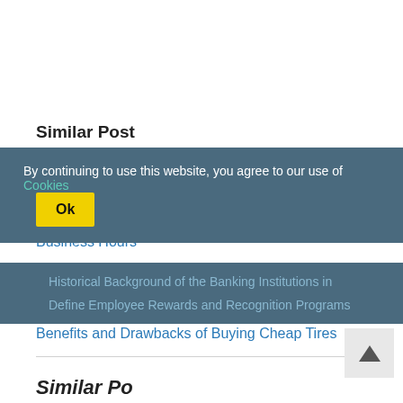Similar Post
Advantage of Pocket Folders
Business Hours
Employee Retention
Benefits and Drawbacks of Buying Cheap Tires
Historical Background of the Banking Institutions in
By continuing to use this website, you agree to our use of Cookies
Define Employee Rewards and Recognition Programs
Similar Po...